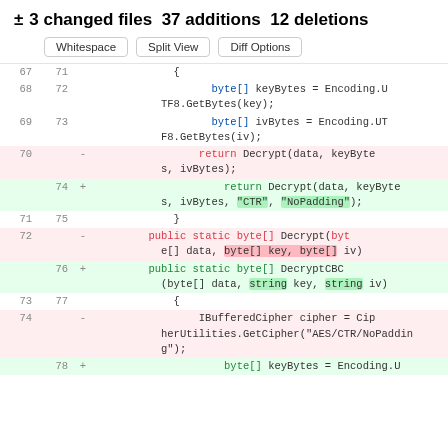± 3 changed files 37 additions 12 deletions
[Figure (screenshot): Buttons: Whitespace, Split View, Diff Options]
| old_ln | new_ln | op | code |
| --- | --- | --- | --- |
| 67 | 71 |  | { |
| 68 | 72 |  | byte[] keyBytes = Encoding.UTF8.GetBytes(key); |
| 69 | 73 |  | byte[] ivBytes = Encoding.UTF8.GetBytes(iv); |
| 70 |  | - | return Decrypt(data, keyBytes, ivBytes); |
|  | 74 | + | return Decrypt(data, keyBytes, ivBytes, "CTR", "NoPadding"); |
| 71 | 75 |  | } |
| 72 |  | - | public static byte[] Decrypt(byte[] data, byte[] key, byte[] iv) |
|  | 76 | + | public static byte[] DecryptCBC(byte[] data, string key, string iv) |
| 73 | 77 |  | { |
| 74 |  | - | IBufferedCipher cipher = CipherUtilities.GetCipher("AES/CTR/NoPadding"); |
|  | 78 | + | byte[] keyBytes = Encoding.U |